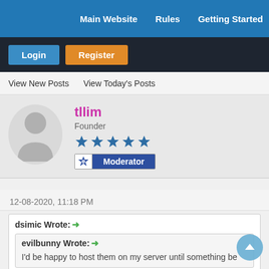Main Website   Rules   Getting Started
Login   Register
View New Posts   View Today's Posts
tllim
Founder
Moderator
12-08-2020, 11:18 PM
dsimic Wrote: →
evilbunny Wrote: →
I'd be happy to host them on my server until something be